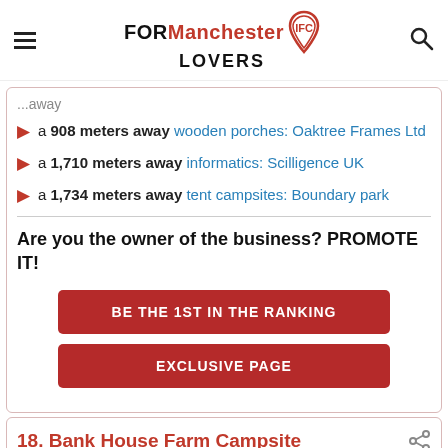FOR Manchester LOVERS
a 908 meters away wooden porches: Oaktree Frames Ltd
a 1,710 meters away informatics: Scilligence UK
a 1,734 meters away tent campsites: Boundary park
Are you the owner of the business? PROMOTE IT!
BE THE 1ST IN THE RANKING
EXCLUSIVE PAGE
18. Bank House Farm Campsite